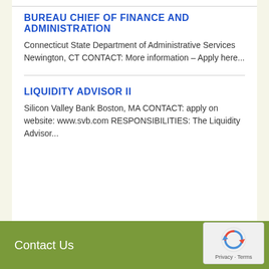BUREAU CHIEF OF FINANCE AND ADMINISTRATION
Connecticut State Department of Administrative Services Newington, CT CONTACT: More information – Apply here...
LIQUIDITY ADVISOR II
Silicon Valley Bank Boston, MA CONTACT: apply on website: www.svb.com RESPONSIBILITIES: The Liquidity Advisor...
Contact Us